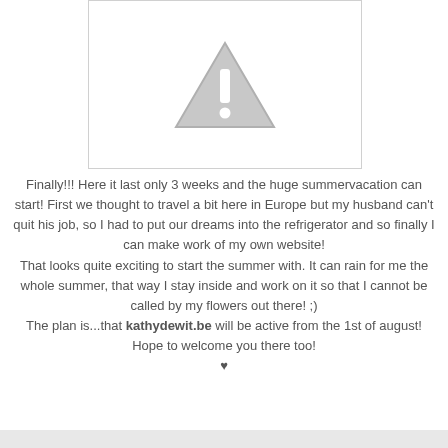[Figure (illustration): A grey warning/alert triangle icon with an exclamation mark, shown in a bordered box]
Finally!!! Here it last only 3 weeks and the huge summervacation can start! First we thought to travel a bit here in Europe but my husband can't quit his job, so I had to put our dreams into the refrigerator and so finally I can make work of my own website!
That looks quite exciting to start the summer with. It can rain for me the whole summer, that way I stay inside and work on it so that I cannot be called by my flowers out there! ;)
The plan is...that kathydewit.be will be active from the 1st of august!
Hope to welcome you there too!
♥